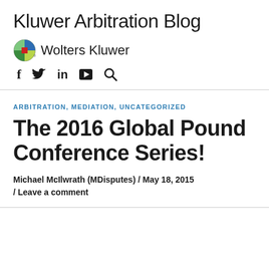Kluwer Arbitration Blog
[Figure (logo): Wolters Kluwer logo with globe icon and social media navigation icons (f, Twitter bird, in, play button, search)]
ARBITRATION, MEDIATION, UNCATEGORIZED
The 2016 Global Pound Conference Series!
Michael McIlwrath (MDisputes) / May 18, 2015 / Leave a comment